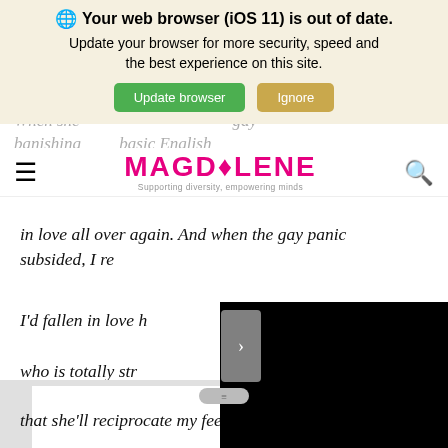[Figure (screenshot): Browser update notification banner with globe icon, bold text 'Your web browser (iOS 11) is out of date.', subtext 'Update your browser for more security, speed and the best experience on this site.', green 'Update browser' button and tan 'Ignore' button on a cream/beige background.]
[Figure (logo): Magdolene website logo in bold pink/magenta font with a fountain pen nib icon replacing the 'O', and tagline 'Supporting diversity, empowering minds' below.]
in love all over again. And when the gay panic subsided, I re...
I'd fallen in love h... who is totally str... someone who is... me. I know that... that she'll reciprocate my feelings, but somehow, I
[Figure (screenshot): Black video player embedded in the article, partially covering the text.]